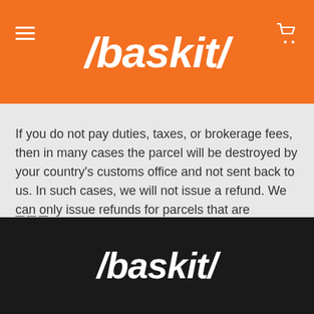[Figure (logo): Baskit logo on orange background with hamburger menu and cart icon]
If you do not pay duties, taxes, or brokerage fees, then in many cases the parcel will be destroyed by your country's customs office and not sent back to us. In such cases, we will not issue a refund. We can only issue refunds for parcels that are returned to us.
[Figure (logo): Baskit logo on dark/black background]